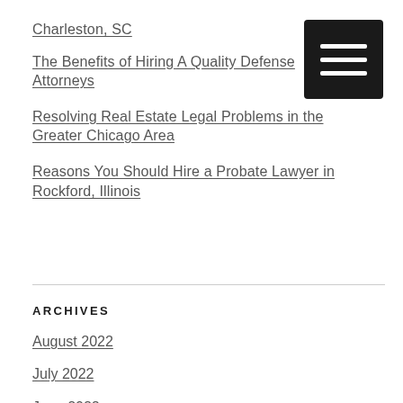Charleston, SC
The Benefits of Hiring A Quality Defense Attorneys
Resolving Real Estate Legal Problems in the Greater Chicago Area
Reasons You Should Hire a Probate Lawyer in Rockford, Illinois
ARCHIVES
August 2022
July 2022
June 2022
May 2022
April 2022